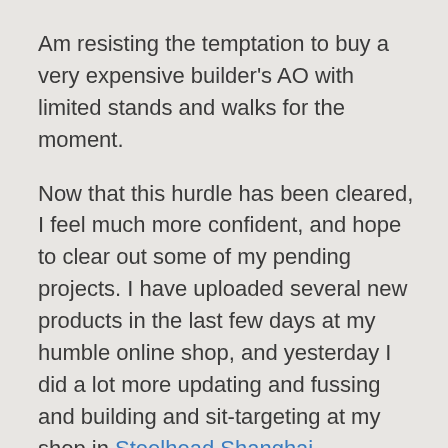Am resisting the temptation to buy a very expensive builder's AO with limited stands and walks for the moment.
Now that this hurdle has been cleared, I feel much more confident, and hope to clear out some of my pending projects. I have uploaded several new products in the last few days at my humble online shop, and yesterday I did a lot more updating and fussing and building and sit-targeting at my shop in Steelhead Shanghai.
I have been making good progress on my offering for the Hunt, a wooden walking stick with inlaid energy tubes. In the meantime, I have been updating the older ones and making new things that might appeal to Victorian or Steampunkish gentlemen who are looking for lower-prim items for their virtual homes